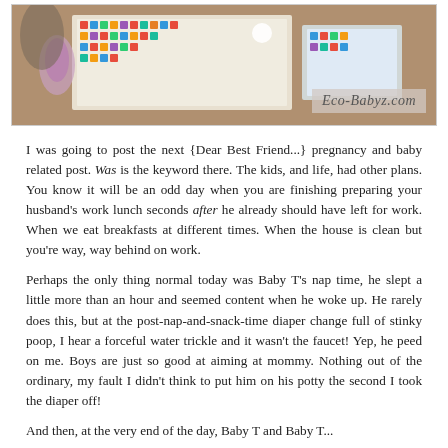[Figure (photo): Photo of a child or person with colorful sticker sheets or papers spread out on a table, with an 'Eco-Babyz.com' watermark in the lower right corner]
I was going to post the next {Dear Best Friend...} pregnancy and baby related post. Was is the keyword there. The kids, and life, had other plans. You know it will be an odd day when you are finishing preparing your husband's work lunch seconds after he already should have left for work. When we eat breakfasts at different times. When the house is clean but you're way, way behind on work.
Perhaps the only thing normal today was Baby T's nap time, he slept a little more than an hour and seemed content when he woke up. He rarely does this, but at the post-nap-and-snack-time diaper change full of stinky poop, I hear a forceful water trickle and it wasn't the faucet! Yep, he peed on me. Boys are just so good at aiming at mommy. Nothing out of the ordinary, my fault I didn't think to put him on his potty the second I took the diaper off!
And then, at the very end of the day, Baby T and Baby T...